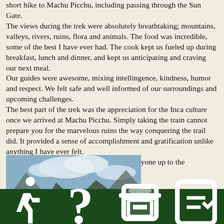short hike to Machu Picchu, including passing through the Sun Gate. The views during the trek were absolutely breathtaking; mountains, valleys, rivers, ruins, flora and animals. The food was incredible, some of the best I have ever had. The cook kept us fueled up during breakfast, lunch and dinner, and kept us anticipating and craving our next meal. Our guides were awesome, mixing intellingence, kindness, humor and respect. We felt safe and well informed of our surroundings and upcoming challenges. The best part of the trek was the appreciation for the Inca culture once we arrived at Machu Picchu. Simply taking the train cannot prepare you for the marvelous ruins the way conquering the trail did. It provided a sense of accomplishment and gratification unlike anything I have ever felt. I highly recommend this experience to everyone up to the challenge!
[Figure (photo): Mountain landscape photo showing rocky peaks, a valley, and cloudy sky — likely taken on the Inca Trail near Machu Picchu.]
Tours | About Us | Call Us | Permits